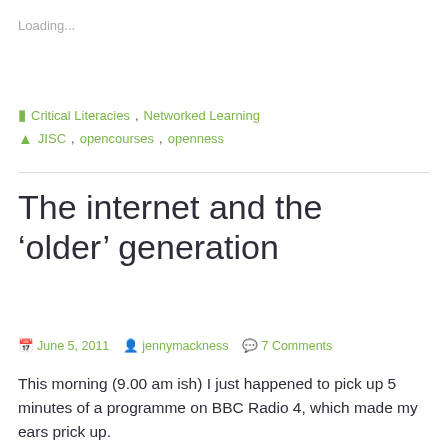Loading...
Critical Literacies, Networked Learning
JISC, opencourses, openness
The internet and the ‘older’ generation
June 5, 2011  jennymackness  7 Comments
This morning (9.00 am ish) I just happened to pick up 5 minutes of a programme on BBC Radio 4, which made my ears prick up.